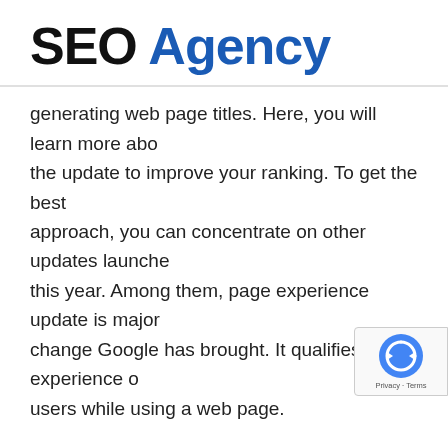SEO Agency
generating web page titles. Here, you will learn more about the update to improve your ranking. To get the best approach, you can concentrate on other updates launched this year. Among them, page experience update is major change Google has brought. It qualifies the experience of users while using a web page.
How titles are generated:
A user first reads the title of a page to determine if the page satisfies his/her queries or not. So, G brought a few things to improve the title of the page.